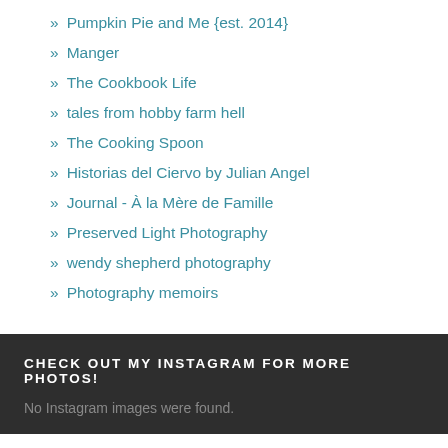» Pumpkin Pie and Me {est. 2014}
» Manger
» The Cookbook Life
» tales from hobby farm hell
» The Cooking Spoon
» Historias del Ciervo by Julian Angel
» Journal - À la Mère de Famille
» Preserved Light Photography
» wendy shepherd photography
» Photography memoirs
CHECK OUT MY INSTAGRAM FOR MORE PHOTOS!
No Instagram images were found.